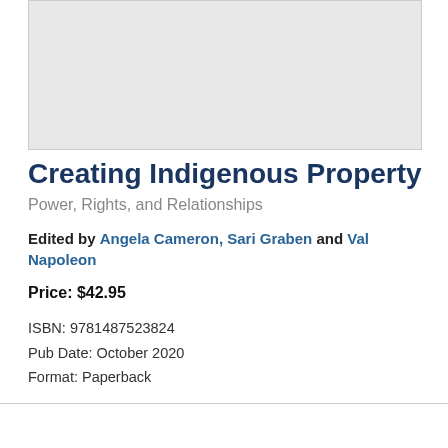[Figure (other): Book cover image placeholder — light gray rectangle]
Creating Indigenous Property
Power, Rights, and Relationships
Edited by Angela Cameron, Sari Graben and Val Napoleon
Price: $42.95
ISBN: 9781487523824
Pub Date: October 2020
Format: Paperback